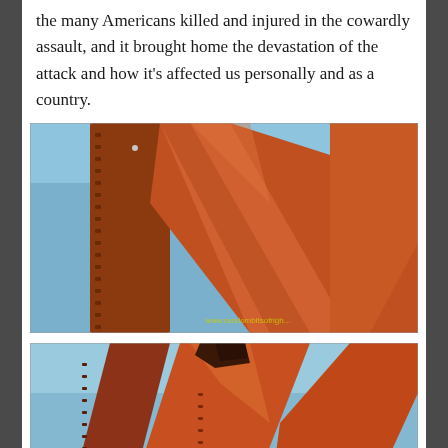the many Americans killed and injured in the cowardly assault, and it brought home the devastation of the attack and how it's affected us personally and as a country.
[Figure (photo): Close-up photo of large rusty/orange steel beams crossed in an X or cross-like formation against a blue sky, with a watermark reading www.randombitsofrigh[t]...]
[Figure (photo): Another close-up photo of the same rusty/orange steel beams structure from a slightly different angle, against a blue sky.]